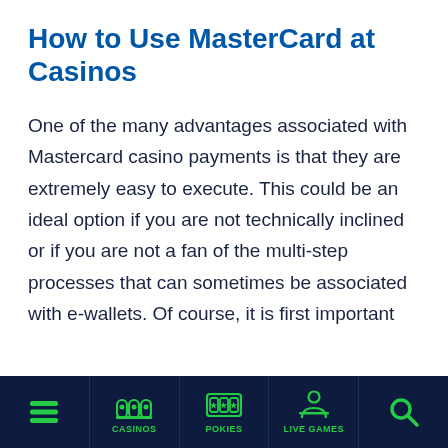How to Use MasterCard at Casinos
One of the many advantages associated with Mastercard casino payments is that they are extremely easy to execute. This could be an ideal option if you are not technically inclined or if you are not a fan of the multi-step processes that can sometimes be associated with e-wallets. Of course, it is first important
CASINOS | POKIES | LIVE GAMES | [search]